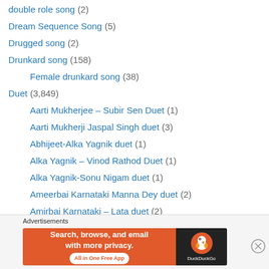double role song (2)
Dream Sequence Song (5)
Drugged song (2)
Drunkard song (158)
Female drunkard song (38)
Duet (3,849)
Aarti Mukherjee – Subir Sen Duet (1)
Aarti Mukherji Jaspal Singh duet (3)
Abhijeet-Alka Yagnik duet (1)
Alka Yagnik – Vinod Rathod Duet (1)
Alka Yagnik-Sonu Nigam duet (1)
Ameerbai Karnataki Manna Dey duet (2)
Amirbai Karnataki – Lata duet (2)
Amirbai Karnataki – NM Adhikari Duet (1)
Amirbai Karnataki Hamida Bano duet (1)
Amirbai Karnataki Premlata duet (1)
[Figure (screenshot): DuckDuckGo advertisement banner: 'Search, browse, and email with more privacy. All in One Free App' with DuckDuckGo logo]